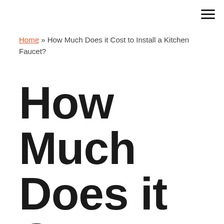≡
Home » How Much Does it Cost to Install a Kitchen Faucet?
How Much Does it Cost to Install a Kitchen